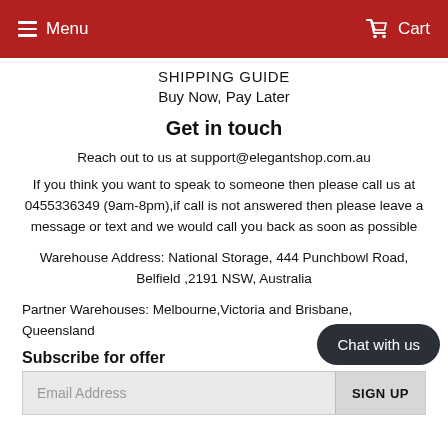Menu   Cart
SHIPPING GUIDE
Buy Now, Pay Later
Get in touch
Reach out to us at support@elegantshop.com.au
If you think you want to speak to someone then please call us at 0455336349 (9am-8pm),if call is not answered then please leave a message or text and we would call you back as soon as possible
Warehouse Address: National Storage, 444 Punchbowl Road, Belfield ,2191 NSW, Australia
Partner Warehouses: Melbourne,Victoria and Brisbane, Queensland
Subscribe for offers
Email Address  SIGN UP